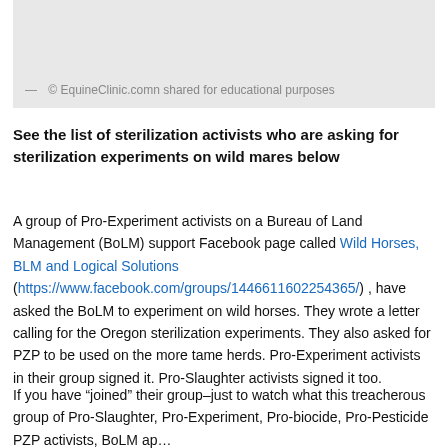[Figure (photo): Image placeholder (light gray box representing a photo, partially visible at top of page)]
— © EquineClinic.comn shared for educational purposes
See the list of sterilization activists who are asking for sterilization experiments on wild mares below
A group of Pro-Experiment activists on a Bureau of Land Management (BoLM) support Facebook page called Wild Horses, BLM and Logical Solutions (https://www.facebook.com/groups/1446611602254365/) , have asked the BoLM to experiment on wild horses. They wrote a letter calling for the Oregon sterilization experiments. They also asked for PZP to be used on the more tame herds. Pro-Experiment activists in their group signed it. Pro-Slaughter activists signed it too.
If you have “joined” their group–just to watch what this treacherous group of Pro-Slaughter, Pro-Experiment, Pro-biocide, Pro-Pesticide PZP activists, BoLM ap...